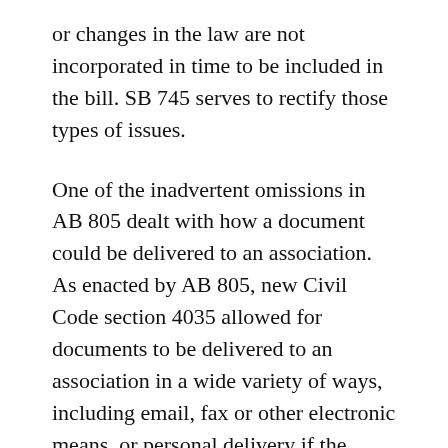or changes in the law are not incorporated in time to be included in the bill. SB 745 serves to rectify those types of issues.
One of the inadvertent omissions in AB 805 dealt with how a document could be delivered to an association. As enacted by AB 805, new Civil Code section 4035 allowed for documents to be delivered to an association in a wide variety of ways, including email, fax or other electronic means, or personal delivery if the association had agreed to such methods of delivery. However, U.S. mail was omitted as an acceptable way to deliver documents to an association. SB 745 amends section 4035 to also allow for delivery of documents to an